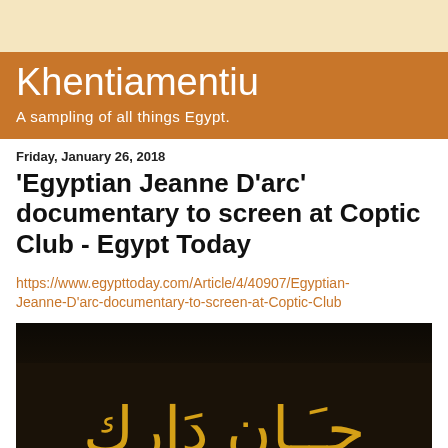Khentiamentiu
A sampling of all things Egypt.
Friday, January 26, 2018
'Egyptian Jeanne D'arc' documentary to screen at Coptic Club - Egypt Today
https://www.egypttoday.com/Article/4/40907/Egyptian-Jeanne-D'arc-documentary-to-screen-at-Coptic-Club
[Figure (photo): Dark background with Arabic golden text reading 'جان دارك' (Jeanne D'arc in Arabic)]